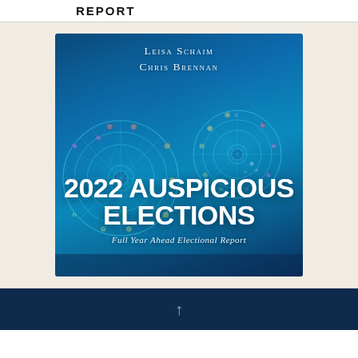REPORT
[Figure (illustration): Book cover for '2022 Auspicious Elections: Full Year Ahead Electional Report' by Leisa Schaim and Chris Brennan. Blue background with astrological wheel/chart diagrams. Authors names at top in small-caps serif font. Large bold white text reading '2022 AUSPICIOUS ELECTIONS'. Subtitle in italic: 'Full Year Ahead Electional Report'.]
↑